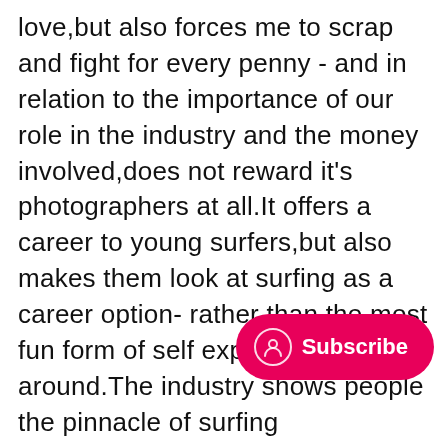love,but also forces me to scrap and fight for every penny - and in relation to the importance of our role in the industry and the money involved,does not reward it's photographers at all.It offers a career to young surfers,but also makes them look at surfing as a career option- rather than the most fun form of self expression around.The industry shows people the pinnacle of surfing excellence,and inevitably pushes the brink of what is possible in waveriding,but also encourages millions to take up an incredible way of life,which inevitably crowds lineups,and some folk don't dig that.It's a recreation that is completely involved in the elements,but that causes hideous amounts of pollutio nearly do enough to encourage a environmentalism.It encourages us to surf to the best of our ability,but also encourages and foode